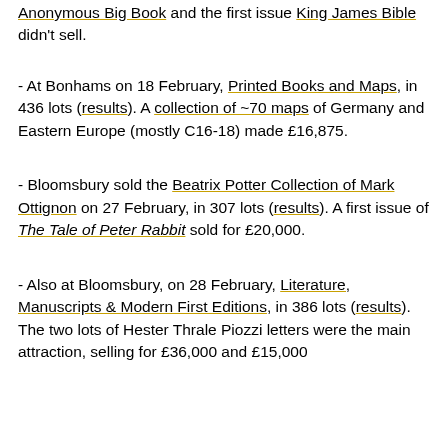Anonymous Big Book and the first issue King James Bible didn't sell.
- At Bonhams on 18 February, Printed Books and Maps, in 436 lots (results). A collection of ~70 maps of Germany and Eastern Europe (mostly C16-18) made £16,875.
- Bloomsbury sold the Beatrix Potter Collection of Mark Ottignon on 27 February, in 307 lots (results). A first issue of The Tale of Peter Rabbit sold for £20,000.
- Also at Bloomsbury, on 28 February, Literature, Manuscripts & Modern First Editions, in 386 lots (results). The two lots of Hester Thrale Piozzi letters were the main attraction, selling for £36,000 and £15,000